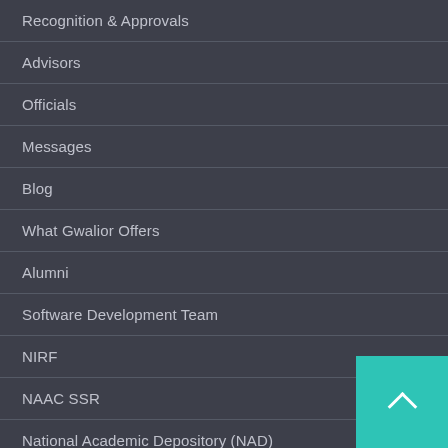Recognition & Approvals
Advisors
Officials
Messages
Blog
What Gwalior Offers
Alumni
Software Development Team
NIRF
NAAC SSR
National Academic Depository (NAD)
JOBS
Apply for Police ITI courses